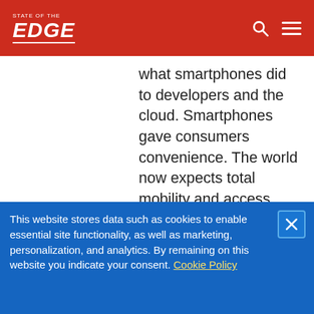STATE OF THE EDGE
what smartphones did to developers and the cloud. Smartphones gave consumers convenience. The world now expects total mobility and access. That has changed the way we build applications and use compute, and has driven much of the cloud revolution. But we've only seen the beginning of this change, as smartphone usage and expectations continue to grow and edge computing
This website stores data such as cookies to enable essential site functionality, as well as marketing, personalization, and analytics. By remaining on this website you indicate your consent. Cookie Policy